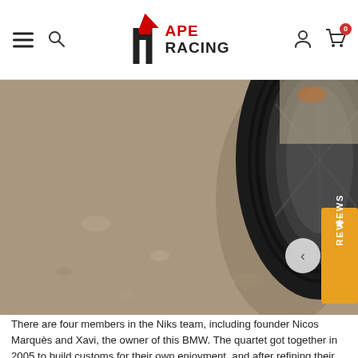APE RACING — navigation header with hamburger menu, search, logo, user icon, and cart (0)
[Figure (photo): Close-up photo of a motorcycle rear tire on a concrete floor, with a blurred concrete background. A gold/orange Reviews tab widget is overlaid on the right side with a star icon.]
There are four members in the Niks team, including founder Nicos Marquès and Xavi, the owner of this BMW. The quartet got together in 2005 to build customs for their own enjoyment, and after refining their day-job skills in industrial design, mechanics and metalworking, went public in 2015.
Since Xavi is the owner of this R80, budget constraints did not apply—and there was complete creative freedom. According to Xavi, the crew